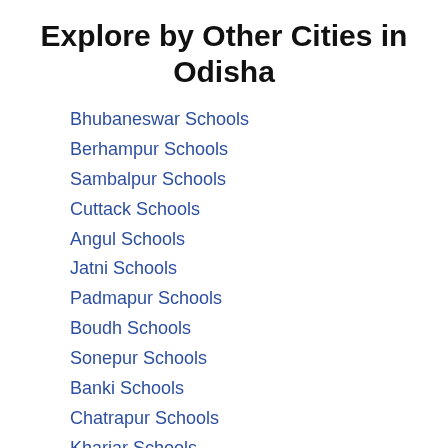Explore by Other Cities in Odisha
Bhubaneswar Schools
Berhampur Schools
Sambalpur Schools
Cuttack Schools
Angul Schools
Jatni Schools
Padmapur Schools
Boudh Schools
Sonepur Schools
Banki Schools
Chatrapur Schools
Khariar Schools
See More
Browse Schools by States